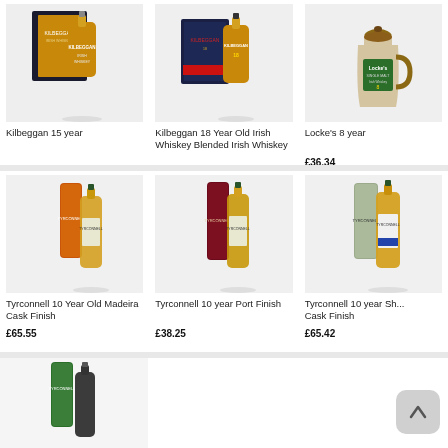[Figure (photo): Kilbeggan 15 year whiskey bottle with black gift box]
Kilbeggan 15 year
[Figure (photo): Kilbeggan 18 Year Old Irish Whiskey Blended Irish Whiskey bottle with navy gift box]
Kilbeggan 18 Year Old Irish Whiskey Blended Irish Whiskey
[Figure (photo): Locke's 8 year single malt Irish whiskey ceramic jug]
Locke's 8 year
£36.34
[Figure (photo): Tyrconnell 10 Year Old Madeira Cask Finish whiskey bottle with orange/red tube]
Tyrconnell 10 Year Old Madeira Cask Finish
£65.55
[Figure (photo): Tyrconnell 10 year Port Finish whiskey bottle with dark red tube]
Tyrconnell 10 year Port Finish
£38.25
[Figure (photo): Tyrconnell 10 year Sherry Cask Finish whiskey bottle with tube]
Tyrconnell 10 year Sh... Cask Finish
£65.42
[Figure (photo): Tyrconnell whiskey bottle with green tube, partially visible at bottom]